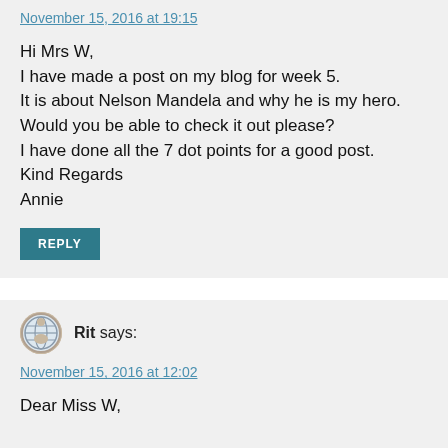November 15, 2016 at 19:15
Hi Mrs W,
I have made a post on my blog for week 5.
It is about Nelson Mandela and why he is my hero.
Would you be able to check it out please?
I have done all the 7 dot points for a good post.
Kind Regards
Annie
REPLY
Rit says:
November 15, 2016 at 12:02
Dear Miss W,